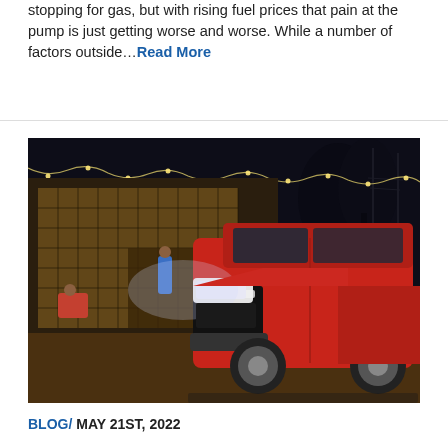stopping for gas, but with rising fuel prices that pain at the pump is just getting worse and worse. While a number of factors outside…Read More
[Figure (photo): A red pickup truck (Ford Maverick) parked at night in front of a building with glowing glass block windows and string lights. Two people are visible in the background.]
BLOG/ MAY 21ST, 2022